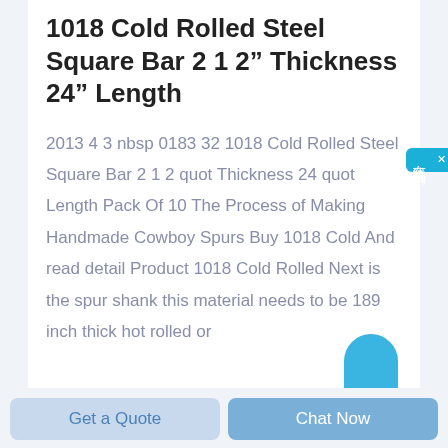1018 Cold Rolled Steel Square Bar 2 1 2″ Thickness 24″ Length
2013 4 3 nbsp 0183 32 1018 Cold Rolled Steel Square Bar 2 1 2 quot Thickness 24 quot Length Pack Of 10 The Process of Making Handmade Cowboy Spurs Buy 1018 Cold And read detail Product 1018 Cold Rolled Next is the spur shank this material needs to be 189 inch thick hot rolled or
[Figure (other): Blue chat widget button on right side with Chinese text 在线咋询 and close X button]
Get a Quote
Chat Now